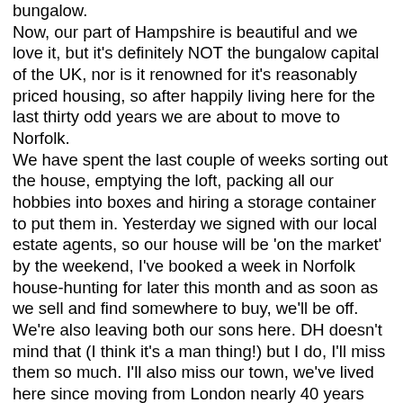bungalow. Now, our part of Hampshire is beautiful and we love it, but it's definitely NOT the bungalow capital of the UK, nor is it renowned for it's reasonably priced housing, so after happily living here for the last thirty odd years we are about to move to Norfolk. We have spent the last couple of weeks sorting out the house, emptying the loft, packing all our hobbies into boxes and hiring a storage container to put them in. Yesterday we signed with our local estate agents, so our house will be 'on the market' by the weekend, I've booked a week in Norfolk house-hunting for later this month and as soon as we sell and find somewhere to buy, we'll be off. We're also leaving both our sons here. DH doesn't mind that (I think it's a man thing!) but I do, I'll miss them so much. I'll also miss our town, we've lived here since moving from London nearly 40 years ago when we got married. So if you don't see me about much you know why and I apologise now to all the people who's blogs I usually visit. I'll keep you up to date with what's happening and my DT posts are scheduled for a while so you'll occasionally see things here.